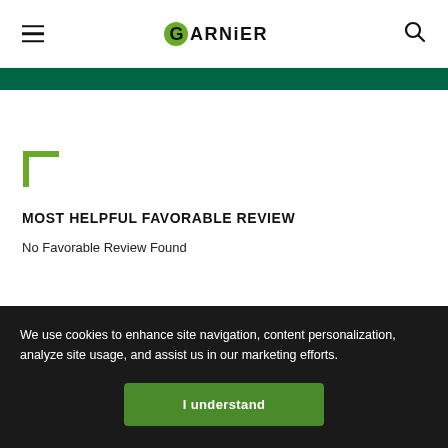GARNIER
MOST HELPFUL FAVORABLE REVIEW
No Favorable Review Found
We use cookies to enhance site navigation, content personalization, analyze site usage, and assist us in our marketing efforts.
I understand